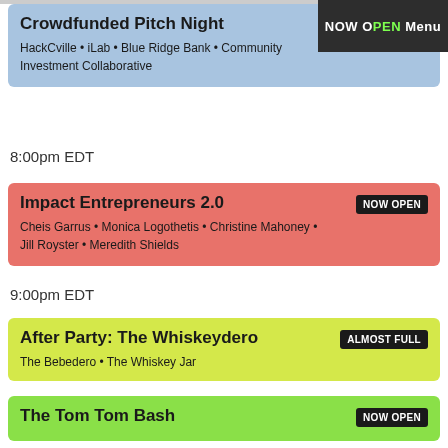NOW OPEN Menu
Crowdfunded Pitch Night
HackCville • iLab • Blue Ridge Bank • Community Investment Collaborative
8:00pm EDT
Impact Entrepreneurs 2.0
Cheis Garrus • Monica Logothetis • Christine Mahoney • Jill Royster • Meredith Shields
9:00pm EDT
After Party: The Whiskeydero
The Bebedero • The Whiskey Jar
The Tom Tom Bash